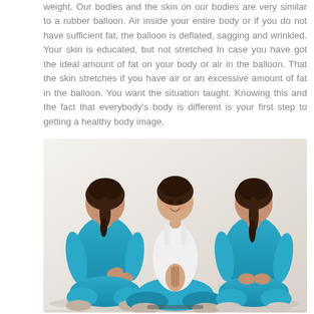weight. Our bodies and the skin on our bodies are very similar to a rubber balloon. Air inside your entire body or if you do not have sufficient fat, the balloon is deflated, sagging and wrinkled. Your skin is educated, but not stretched In case you have got the ideal amount of fat on your body or air in the balloon. That the skin stretches if you have air or an excessive amount of fat in the balloon. You want the situation taught. Knowing this and the fact that everybody's body is different is your first step to getting a healthy body image.
[Figure (photo): Three women practicing yoga. The center woman faces forward in a seated lotus pose with hands pressed together in prayer position, smiling, wearing a white top and blue pants. Two women face away from the viewer on either side, both wearing teal/blue tank tops, also in seated poses.]